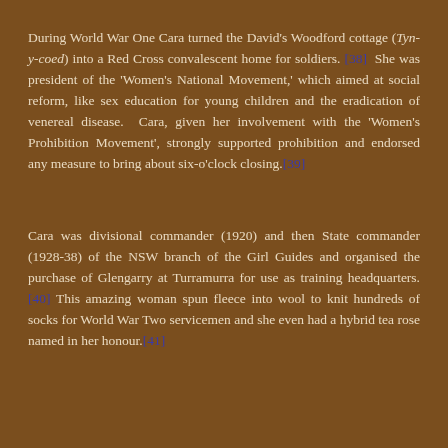During World War One Cara turned the David's Woodford cottage (Tyn-y-coed) into a Red Cross convalescent home for soldiers.[38]  She was president of the 'Women's National Movement,' which aimed at social reform, like sex education for young children and the eradication of venereal disease.  Cara, given her involvement with the 'Women's Prohibition Movement', strongly supported prohibition and endorsed any measure to bring about six-o'clock closing.[39]
Cara was divisional commander (1920) and then State commander (1928-38) of the NSW branch of the Girl Guides and organised the purchase of Glengarry at Turramurra for use as training headquarters.[40] This amazing woman spun fleece into wool to knit hundreds of socks for World War Two servicemen and she even had a hybrid tea rose named in her honour.[41]